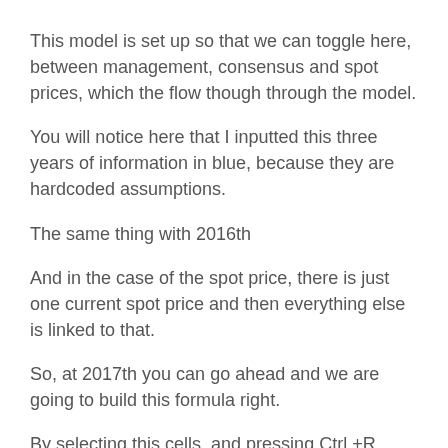This model is set up so that we can toggle here, between management, consensus and spot prices, which the flow though through the model.
You will notice here that I inputted this three years of information in blue, because they are hardcoded assumptions.
The same thing with 2016th
And in the case of the spot price, there is just one current spot price and then everything else is linked to that.
So, at 2017th you can go ahead and we are going to build this formula right.
By selecting this cells, and pressing Ctrl +R,